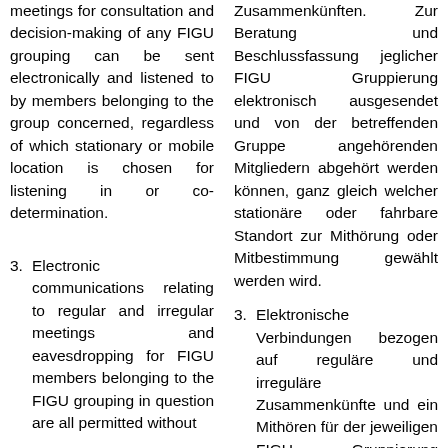meetings for consultation and decision-making of any FIGU grouping can be sent electronically and listened to by members belonging to the group concerned, regardless of which stationary or mobile location is chosen for listening in or co-determination.
Zusammenkünften. Zur Beratung und Beschlussfassung jeglicher FIGU Gruppierung elektronisch ausgesendet und von der betreffenden Gruppe angehörenden Mitgliedern abgehört werden können, ganz gleich welcher stationäre oder fahrbare Standort zur Mithörung oder Mitbestimmung gewählt werden wird.
3. Electronic communications relating to regular and irregular meetings and eavesdropping for FIGU members belonging to the FIGU grouping in question are all permitted without
3. Elektronische Verbindungen bezogen auf reguläre und irreguläre Zusammenkünfte und ein Mithören für der jeweiligen FIGU Gruppierung angehörenden FIGU Mitglieder sind alle ohne jede